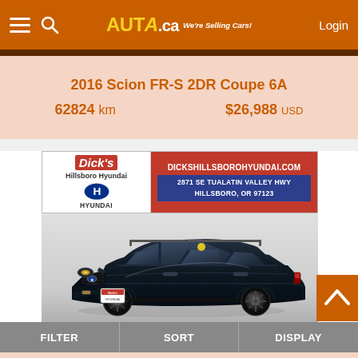AUTA.ca We're Selling Cars! Login
2016 Scion FR-S 2DR Coupe 6A
62824 km   $26,988 USD
[Figure (advertisement): Dick's Hillsboro Hyundai dealer banner ad. Website: DICKSHILLSBOROHYUNDAI.COM. Address: 2871 SE TUALATIN VALLEY HWY, HILLSBORO, OR 97123]
[Figure (photo): Dark navy blue Subaru crossover SUV with roof rails, photographed at a dealer lot against a light background.]
FILTER   SORT   DISPLAY